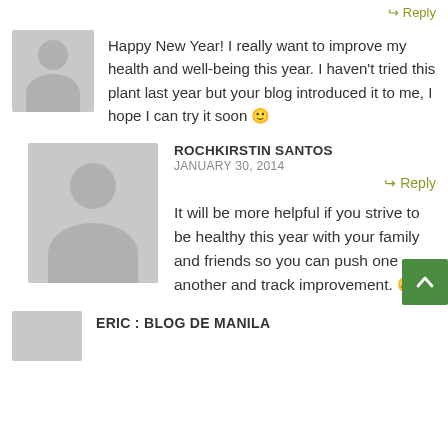↩ Reply
Happy New Year! I really want to improve my health and well-being this year. I haven't tried this plant last year but your blog introduced it to me, I hope I can try it soon 🙂
ROCHKIRSTIN SANTOS
JANUARY 30, 2014
➤ Reply
It will be more helpful if you strive to be healthy this year with your family and friends so you can push one another and track improvement. 😀
ERIC : BLOG DE MANILA